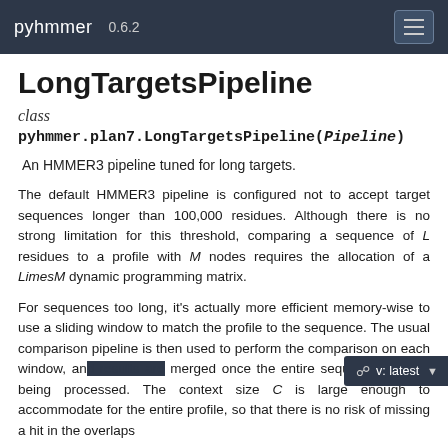pyhmmer 0.6.2
LongTargetsPipeline
class
pyhmmer.plan7.LongTargetsPipeline(Pipeline)
An HMMER3 pipeline tuned for long targets.
The default HMMER3 pipeline is configured not to accept target sequences longer than 100,000 residues. Although there is no strong limitation for this threshold, comparing a sequence of L residues to a profile with M nodes requires the allocation of a LimesM dynamic programming matrix.
For sequences too long, it's actually more efficient memory-wise to use a sliding window to match the profile to the sequence. The usual comparison pipeline is then used to perform the comparison on each window, and results are merged once the entire sequence is done being processed. The context size C is large enough to accommodate for the entire profile, so that there is no risk of missing a hit in the overlaps